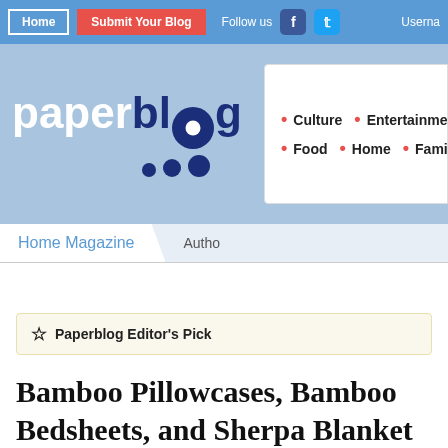Home | Submit Your Blog | Follow us | Username
[Figure (logo): Paperblog logo with paper in white and blog in dark navy, with dots underneath]
Culture • Entertainment • So... • Food • Home • Family • S...
Home Magazine
Autho
⭐ Paperblog Editor's Pick
Bamboo Pillowcases, Bamboo Bedsheets, and Sherpa Blanket